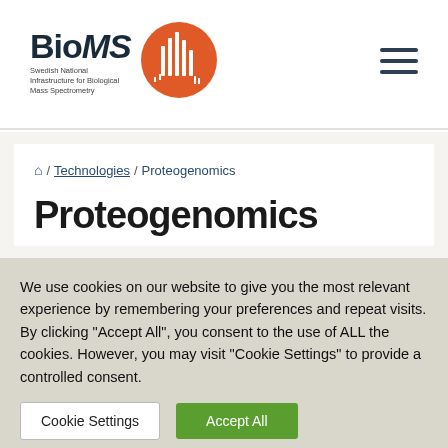[Figure (logo): BioMS logo with orange circle containing bar chart/mass spectrometry peaks and text 'Swedish National Infrastructure for Biological Mass Spectrometry']
/ Technologies / Proteogenomics
Proteogenomics
We use cookies on our website to give you the most relevant experience by remembering your preferences and repeat visits. By clicking "Accept All", you consent to the use of ALL the cookies. However, you may visit "Cookie Settings" to provide a controlled consent.
Cookie Settings  Accept All